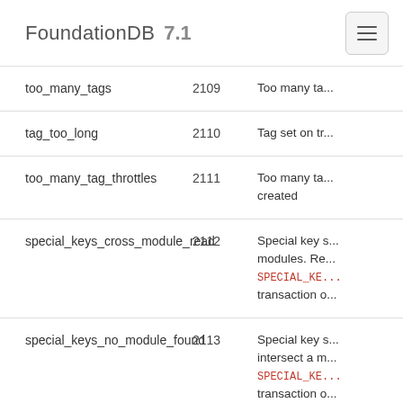FoundationDB 7.1
| Name | Code | Description |
| --- | --- | --- |
| too_many_tags | 2109 | Too many ta... |
| tag_too_long | 2110 | Tag set on tr... |
| too_many_tag_throttles | 2111 | Too many ta... created |
| special_keys_cross_module_read | 2112 | Special key s... modules. Re... SPECIAL_KE... transaction o... |
| special_keys_no_module_found | 2113 | Special key s... intersect a m... SPECIAL_KE... transaction o... |
| special_keys_write_disabled | 2114 | Special key s... write by defa... SPECIAL_KE... transaction o... |